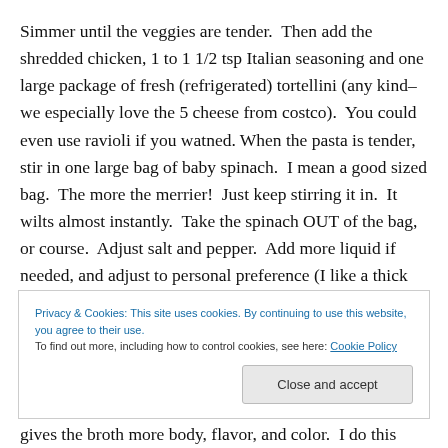Simmer until the veggies are tender.  Then add the shredded chicken, 1 to 1 1/2 tsp Italian seasoning and one large package of fresh (refrigerated) tortellini (any kind–we especially love the 5 cheese from costco).  You could even use ravioli if you watned. When the pasta is tender, stir in one large bag of baby spinach.  I mean a good sized bag.  The more the merrier!  Just keep stirring it in.  It wilts almost instantly.  Take the spinach OUT of the bag, or course.  Adjust salt and pepper.  Add more liquid if needed, and adjust to personal preference (I like a thick
Privacy & Cookies: This site uses cookies. By continuing to use this website, you agree to their use.
To find out more, including how to control cookies, see here: Cookie Policy
Close and accept
gives the broth more body, flavor, and color.  I do this